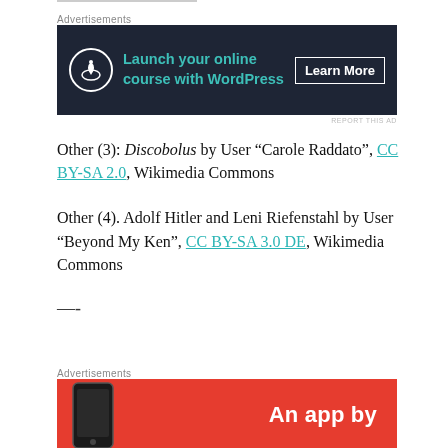[Figure (infographic): Advertisement banner: dark navy background with bonsai tree icon, teal text 'Launch your online course with WordPress', white 'Learn More' button]
Other (3): Discobolus by User “Carole Raddato”, CC BY-SA 2.0, Wikimedia Commons
Other (4). Adolf Hitler and Leni Riefenstahl by User “Beyond My Ken”, CC BY-SA 3.0 DE, Wikimedia Commons
—-
[Figure (infographic): Advertisement banner: red background with bold white text 'An app by' and a phone image]